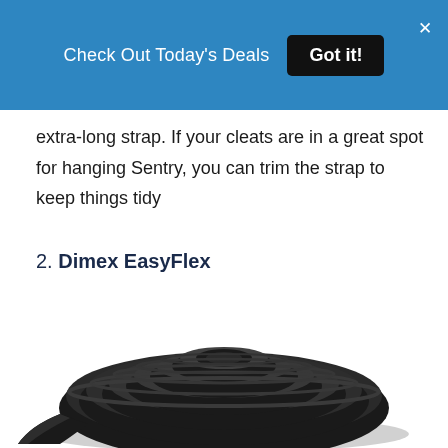Check Out Today's Deals  Got it!
extra-long strap. If your cleats are in a great spot for hanging Sentry, you can trim the strap to keep things tidy
2. Dimex EasyFlex
[Figure (photo): A coiled black flexible edging strip (Dimex EasyFlex product), rolled into a spiral, photographed on a white background.]